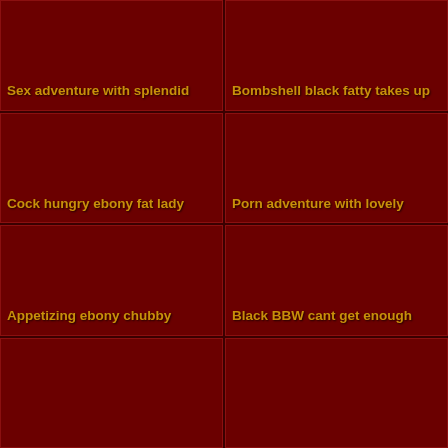[Figure (photo): Dark reddish-brown thumbnail image, top-left cell]
Sex adventure with splendid
[Figure (photo): Dark reddish-brown thumbnail image, top-right cell]
Bombshell black fatty takes up
[Figure (photo): Dark reddish-brown thumbnail image, second row left]
Cock hungry ebony fat lady
[Figure (photo): Dark reddish-brown thumbnail image, second row right]
Porn adventure with lovely
[Figure (photo): Dark reddish-brown thumbnail image, third row left]
Appetizing ebony chubby
[Figure (photo): Dark reddish-brown thumbnail image, third row right]
Black BBW cant get enough
[Figure (photo): Dark reddish-brown thumbnail image, bottom-left cell]
[Figure (photo): Dark reddish-brown thumbnail image, bottom-right cell]